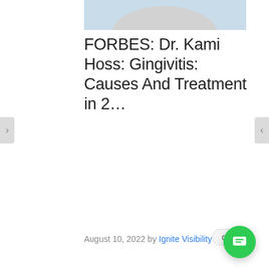[Figure (photo): Partial image of a person's face/neck, bluish and skin tones, cropped at top]
FORBES: Dr. Kami Hoss: Gingivitis: Causes And Treatment in 2…
August 10, 2022 by Ignite Visibility
Gingiviti… READ C… https://w… causes-a… Christiano Campisano: Plaque often leads to gi… Read More
[Figure (screenshot): Chat popup overlay with avatar, text: Hi have a question? Text us here. Book appts with button above. Close button visible. Green chat FAB button at bottom right.]